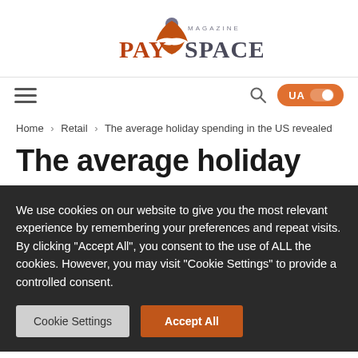[Figure (logo): PaySpace Magazine logo with orange figure and grey/orange lettering]
Navigation bar with hamburger menu, search icon, and UA language toggle
Home > Retail > The average holiday spending in the US revealed
The average holiday
We use cookies on our website to give you the most relevant experience by remembering your preferences and repeat visits. By clicking "Accept All", you consent to the use of ALL the cookies. However, you may visit "Cookie Settings" to provide a controlled consent.
Cookie Settings | Accept All